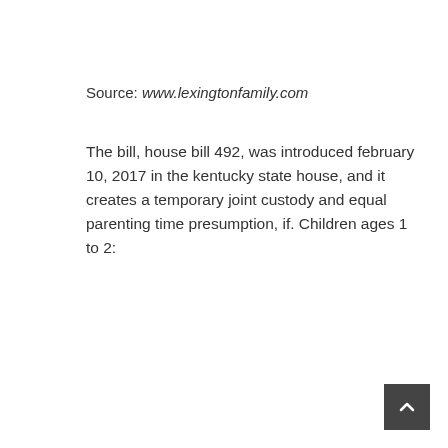Source: www.lexingtonfamily.com
The bill, house bill 492, was introduced february 10, 2017 in the kentucky state house, and it creates a temporary joint custody and equal parenting time presumption, if. Children ages 1 to 2: